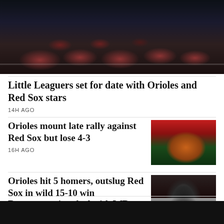[Figure (photo): Sports photo showing fans/players in dugout wearing red helmets, dark stadium background]
Little Leaguers set for date with Orioles and Red Sox stars
14H AGO
Orioles mount late rally against Red Sox but lose 4-3
16H AGO
[Figure (photo): Baseball player in Orioles orange uniform sliding or diving on field]
Orioles hit 5 homers, outslug Red Sox in wild 15-10 win
AUG 19
[Figure (photo): Orioles player number 6 in black uniform running/celebrating]
Ravens nearing deal with WR Demarcus Robinson, according to reports
[Figure (photo): Football player in dark helmet/uniform, partial view]